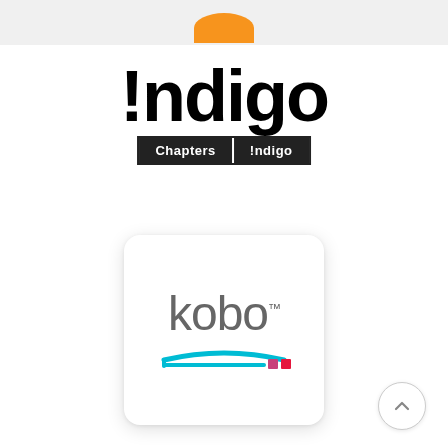[Figure (logo): Partial orange circular shape visible at top of page, cropped]
[Figure (logo): Indigo logo: large bold black text reading !ndigo with a subbar showing Chapters and Indigo in white text on black background]
[Figure (logo): Kobo logo in rounded-corner white card with drop shadow: grey text 'kobo' with TM mark, cyan open book underline with magenta and pink squares]
[Figure (other): Back-to-top button: circular grey-bordered button with upward chevron arrow]